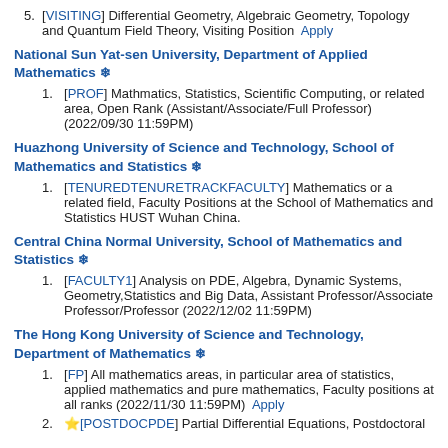5. [VISITING] Differential Geometry, Algebraic Geometry, Topology and Quantum Field Theory, Visiting Position Apply
National Sun Yat-sen University, Department of Applied Mathematics ❄
1. [PROF] Mathmatics, Statistics, Scientific Computing, or related area, Open Rank (Assistant/Associate/Full Professor) (2022/09/30 11:59PM)
Huazhong University of Science and Technology, School of Mathematics and Statistics ❄
1. [TENUREDTENURETRACKFACULTY] Mathematics or a related field, Faculty Positions at the School of Mathematics and Statistics HUST Wuhan China.
Central China Normal University, School of Mathematics and Statistics ❄
1. [FACULTY1] Analysis on PDE, Algebra, Dynamic Systems, Geometry,Statistics and Big Data, Assistant Professor/Associate Professor/Professor (2022/12/02 11:59PM)
The Hong Kong University of Science and Technology, Department of Mathematics ❄
1. [FP] All mathematics areas, in particular area of statistics, applied mathematics and pure mathematics, Faculty positions at all ranks (2022/11/30 11:59PM) Apply
2. ⭐[POSTDOCPDE] Partial Differential Equations, Postdoctoral